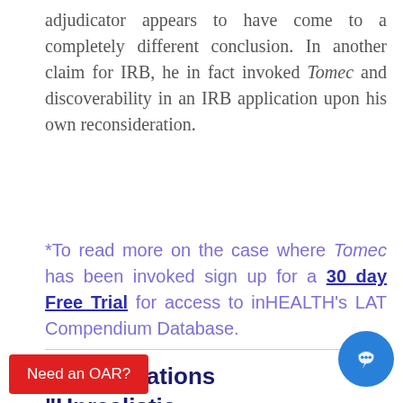adjudicator appears to have come to a completely different conclusion. In another claim for IRB, he in fact invoked Tomec and discoverability in an IRB application upon his own reconsideration.
*To read more on the case where Tomec has been invoked sign up for a 30 day Free Trial for access to inHEALTH's LAT Compendium Database.
e Modifications "Unrealistic